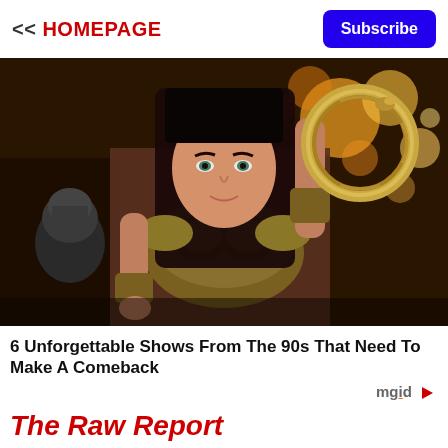<< HOMEPAGE
Subscribe
[Figure (photo): A woman in ornate warrior armor holding a circular metal weapon (chakram) aloft, with fiery background. A second figure in a helmet is visible behind her. Scene from Xena: Warrior Princess TV show.]
6 Unforgettable Shows From The 90s That Need To Make A Comeback
mgid ▷
The Raw Report